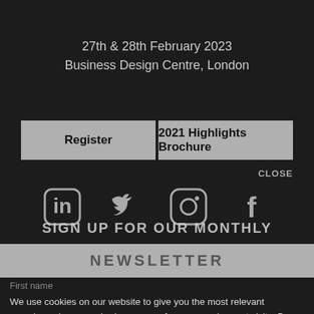27th & 28th February 2023
Business Design Centre, London
Register
2021 Highlights Brochure
CLOSE
[Figure (illustration): Four social media icons in a row: LinkedIn, Twitter, Instagram, Facebook. Gray icons on dark background.]
SIGN UP FOR OUR MONTHLY
NEWSLETTER
First name
We use cookies on our website to give you the most relevant experience by remembering your preferences and repeat visits. By clicking "Accept All", you consent to the use of ALL the cookies. Visit our Privacy Policy for more information.
Accept All
Reject All
Last name
Your email